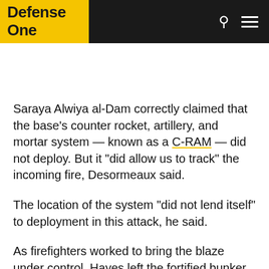Defense One
Saraya Alwiya al-Dam correctly claimed that the base’s counter rocket, artillery, and mortar system — known as a C-RAM — did not deploy. But it “did allow us to track” the incoming fire, Desormeaux said.
The location of the system “did not lend itself” to deployment in this attack, he said.
As firefighters worked to bring the blaze under control, Hayes left the fortified bunker where he and his roommate had taken shelter and ran to the limited medical facility on the base to help direct traffic, move